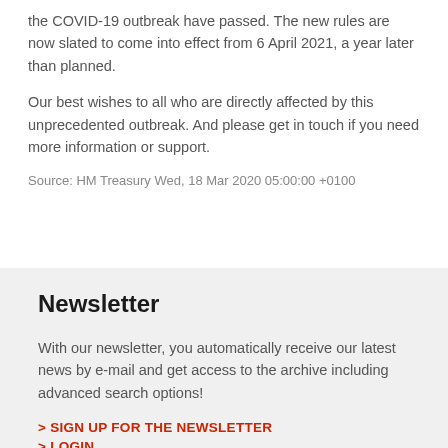the COVID-19 outbreak have passed. The new rules are now slated to come into effect from 6 April 2021, a year later than planned.
Our best wishes to all who are directly affected by this unprecedented outbreak. And please get in touch if you need more information or support.
Source: HM Treasury Wed, 18 Mar 2020 05:00:00 +0100
Newsletter
With our newsletter, you automatically receive our latest news by e-mail and get access to the archive including advanced search options!
> SIGN UP FOR THE NEWSLETTER
> LOGIN